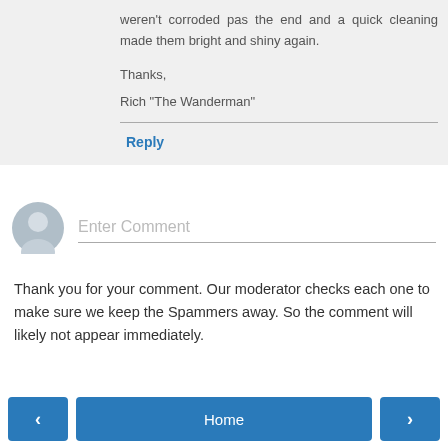weren't corroded pas the end and a quick cleaning made them bright and shiny again.

Thanks,

Rich "The Wanderman"
Reply
Enter Comment
Thank you for your comment. Our moderator checks each one to make sure we keep the Spammers away. So the comment will likely not appear immediately.
< Home >